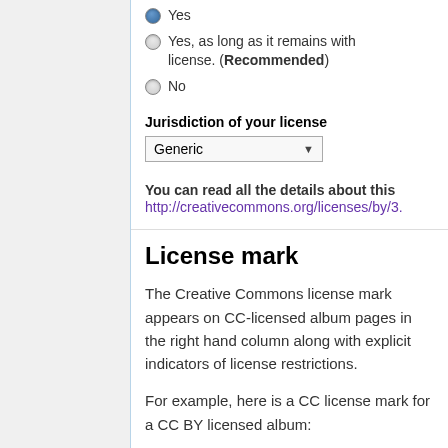Yes
Yes, as long as it remains with license. (Recommended)
No
Jurisdiction of your license
Generic
You can read all the details about this http://creativecommons.org/licenses/by/3.
License mark
The Creative Commons license mark appears on CC-licensed album pages in the right hand column along with explicit indicators of license restrictions.
For example, here is a CC license mark for a CC BY licensed album:
[Figure (screenshot): A CC license widget showing 'Your rights on this album' header in purple, with text 'You can copy, distribute, advertise and play this album' and a 'Some Rights Reserved' CC badge on the right.]